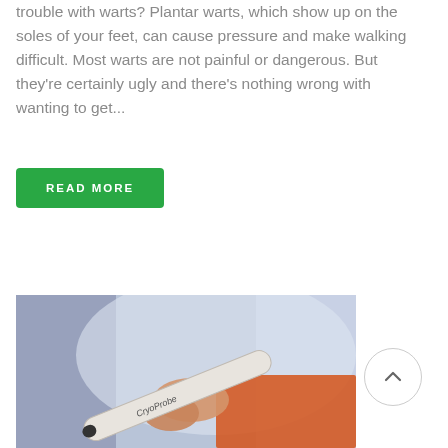trouble with warts? Plantar warts, which show up on the soles of your feet, can cause pressure and make walking difficult. Most warts are not painful or dangerous. But they're certainly ugly and there's nothing wrong with wanting to get...
READ MORE
[Figure (photo): A person holding a medical probe device (labeled 'CryoProbe') in their hand, photographed against a blurred blue-grey background. The person is wearing an orange top.]